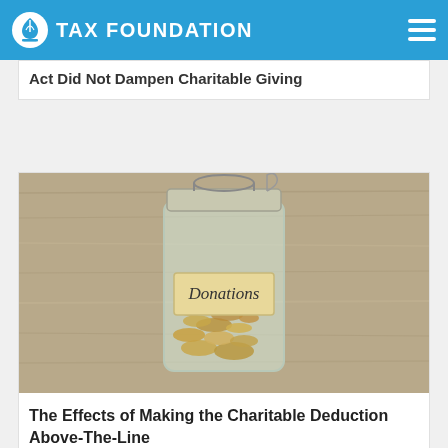TAX FOUNDATION
Act Did Not Dampen Charitable Giving
[Figure (photo): A glass mason jar with a handwritten label reading 'Donations', filled with assorted coins, sitting on a wooden surface.]
The Effects of Making the Charitable Deduction Above-The-Line